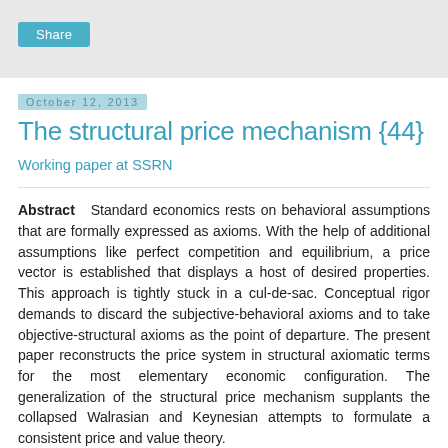Share
October 12, 2013
The structural price mechanism {44}
Working paper at SSRN
Abstract   Standard economics rests on behavioral assumptions that are formally expressed as axioms. With the help of additional assumptions like perfect competition and equilibrium, a price vector is established that displays a host of desired properties. This approach is tightly stuck in a cul-de-sac. Conceptual rigor demands to discard the subjective-behavioral axioms and to take objective-structural axioms as the point of departure. The present paper reconstructs the price system in structural axiomatic terms for the most elementary economic configuration. The generalization of the structural price mechanism supplants the collapsed Walrasian and Keynesian attempts to formulate a consistent price and value theory.